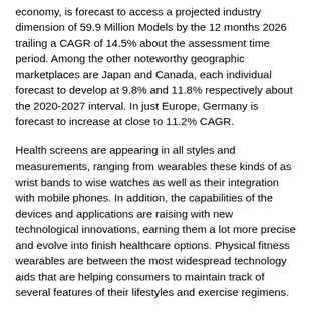economy, is forecast to access a projected industry dimension of 59.9 Million Models by the 12 months 2026 trailing a CAGR of 14.5% about the assessment time period. Among the other noteworthy geographic marketplaces are Japan and Canada, each individual forecast to develop at 9.8% and 11.8% respectively about the 2020-2027 interval. In just Europe, Germany is forecast to increase at close to 11.2% CAGR.
Health screens are appearing in all styles and measurements, ranging from wearables these kinds of as wrist bands to wise watches as well as their integration with mobile phones. In addition, the capabilities of the devices and applications are raising with new technological innovations, earning them a lot more precise and evolve into finish healthcare options. Physical fitness wearables are between the most widespread technology aids that are helping consumers to maintain track of several features of their lifestyles and exercise regimens.
Consumers are more and more opting for wearable wireless